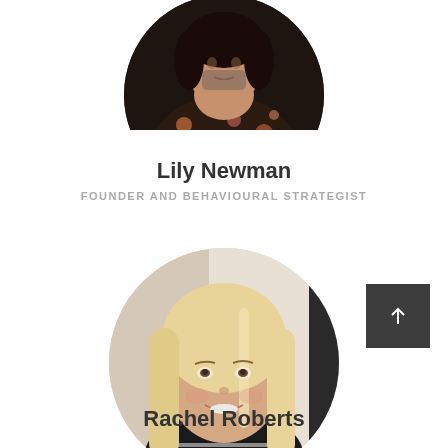[Figure (photo): Circular portrait photo of Lily Newman, partially cropped at top of page, showing a woman in a dark floral dress]
Lily Newman
FOUNDER AND BEHAVIOURAL STRATEGIST
[Figure (photo): Circular portrait photo of Rachel Roberts, a woman with long blonde hair smiling, wearing a black and white striped top]
Rachel Roberts